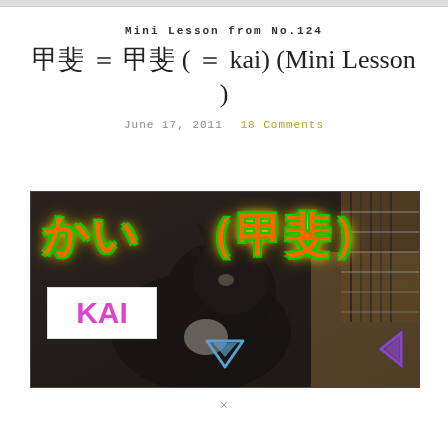Mini Lesson from No.124
甲斐 ＝ 甲斐 ( ＝ kai) (Mini Lesson )
June 17, 2011   18 Comments
[Figure (photo): Video thumbnail showing a dark cat in the foreground with a guitar visible on the right side. Large Japanese text overlaid reading かい（甲斐）in orange with green outline. A white box with magenta text reading KAI is shown in the lower left. Navigation arrows visible at the bottom.]
×